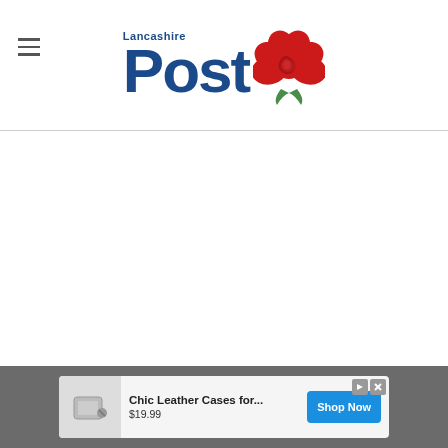Lancashire Post
[Figure (logo): Lancashire Post newspaper logo with blue 'Lancashire' text above large blue 'Post' text, accompanied by a red rose illustration to the right]
[Figure (infographic): Advertisement banner: Chic Leather Cases for... $19.99 with Shop Now button, showing a leather case product image]